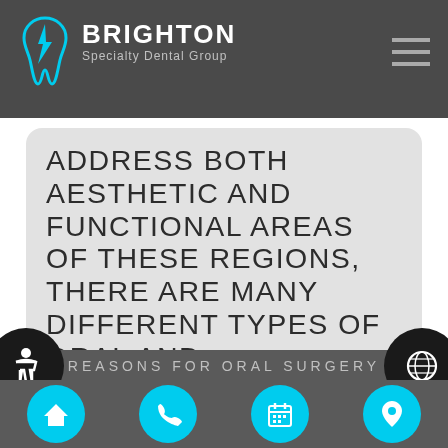Brighton Specialty Dental Group
ADDRESS BOTH AESTHETIC AND FUNCTIONAL AREAS OF THESE REGIONS, THERE ARE MANY DIFFERENT TYPES OF ORAL AND MAXILLOFACIAL SURGERIES."
REASONS FOR ORAL SURGERY
Navigation bar with home, phone, calendar, location icons